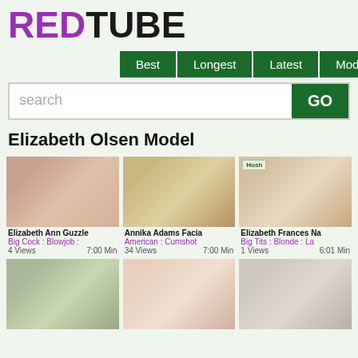[Figure (logo): RedTube logo with RED in purple and TUBE in black bold text]
Best | Longest | Latest | Models
search GO
Elizabeth Olsen Model
[Figure (photo): Video thumbnail 1 - Elizabeth Ann Guzzle]
Elizabeth Ann Guzzle
Big Cock : Blowjob :
4 Views   7:00 Min
[Figure (photo): Video thumbnail 2 - Annika Adams Facia]
Annika Adams Facia
American : Cumshot
34 Views   7:00 Min
[Figure (photo): Video thumbnail 3 - Elizabeth Frances Na (Hush)]
Elizabeth Frances Na
Big Tits : Blonde : La
1 Views   6:01 Min
[Figure (photo): Video thumbnail 4 - bottom left]
[Figure (photo): Video thumbnail 5 - bottom center]
[Figure (photo): Video thumbnail 6 - bottom right]